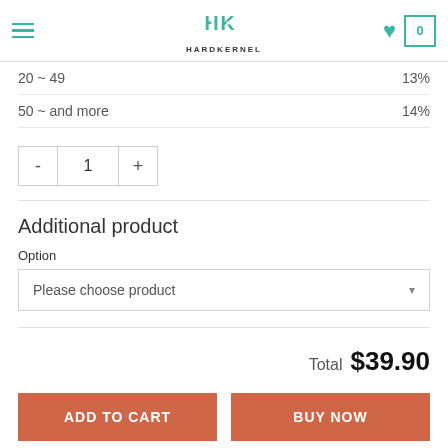HARDKERNEL
| 20 ~ 49 | 13% |
| 50 ~ and more | 14% |
1 (quantity selector)
Additional product
Option
Please choose product
Total  $39.90
ADD TO CART
BUY NOW